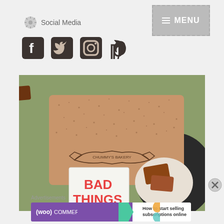Social Media
[Figure (screenshot): Menu button with hamburger icon and MENU text]
[Figure (illustration): Social media icons: Facebook, Twitter, Instagram, Pinterest]
[Figure (photo): A kraft cardboard box labeled Chummy's Bakery on a dark table, with a book titled BAD THINGS and a plate of baked pastries]
Advertisements
[Figure (screenshot): WooCommerce advertisement banner: How to start selling subscriptions online]